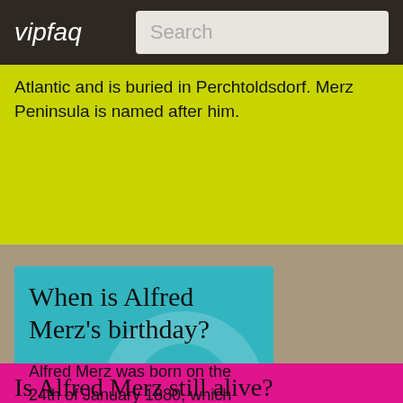vipfaq | Search
Atlantic and is buried in Perchtoldsdorf. Merz Peninsula is named after him.
When is Alfred Merz's birthday?
Alfred Merz was born on the 24th of January 1880, which was a Saturday. Alfred Merz's next birthday would be in 144 days (would be turning 143years old then).
Is Alfred Merz still alive?
As of the survey date...